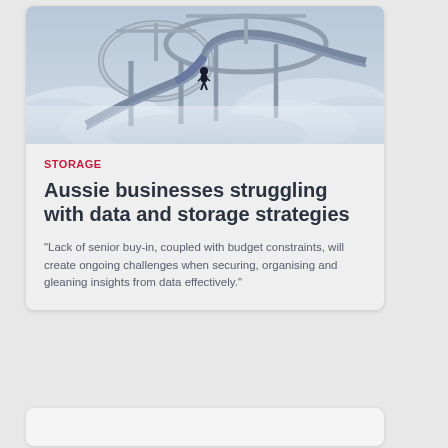[Figure (illustration): Surreal illustration of a person standing on a rollercoaster-like winding road structure above clouds, with complex looping elevated highway ramps in a misty sky background]
STORAGE
Aussie businesses struggling with data and storage strategies
"Lack of senior buy-in, coupled with budget constraints, will create ongoing challenges when securing, organising and gleaning insights from data effectively."